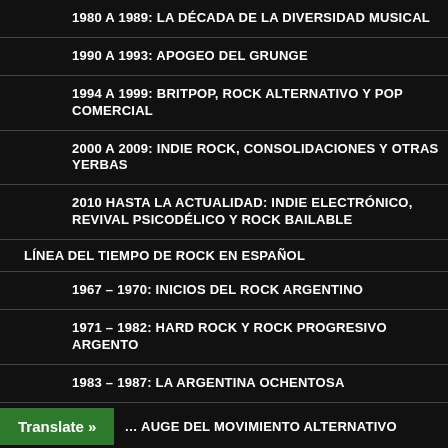1980 A 1989: LA DÉCADA DE LA DIVERSIDAD MUSICAL
1990 A 1993: APOGEO DEL GRUNGE
1994 A 1999: BRITPOP, ROCK ALTERNATIVO Y POP COMERCIAL
2000 A 2009: INDIE ROCK, CONSOLIDACIONES Y OTRAS YERBAS
2010 HASTA LA ACTUALIDAD: INDIE ELECTRÓNICO, REVIVAL PSICODÉLICO Y ROCK BAILABLE
LÍNEA DEL TIEMPO DE ROCK EN ESPAÑOL
1967 – 1970: INICIOS DEL ROCK ARGENTINO
1971 – 1982: HARD ROCK Y ROCK PROGRESIVO ARGENTO
1983 – 1987: LA ARGENTINA OCHENTOSA
1988 – 1997: ROCK ROLINGA, ESTILOS LATINOS Y EL NUEVO ROCK ARGENTINO
1998 – 2004: SEPARACIONES Y PROYECTOS SOLISTAS
… AUGE DEL MOVIMIENTO ALTERNATIVO